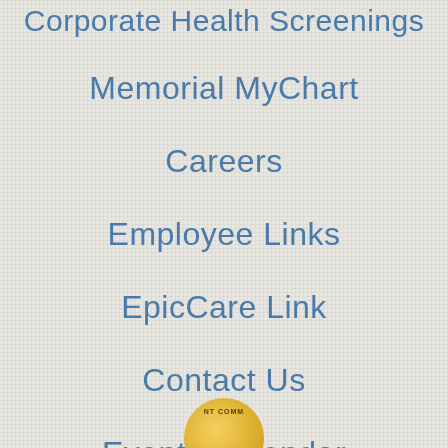Corporate Health Screenings
Memorial MyChart
Careers
Employee Links
EpicCare Link
Contact Us
Events Calendar
[Figure (illustration): Partial circular gold/yellow badge or seal at the bottom center of the page, with text curved around it]